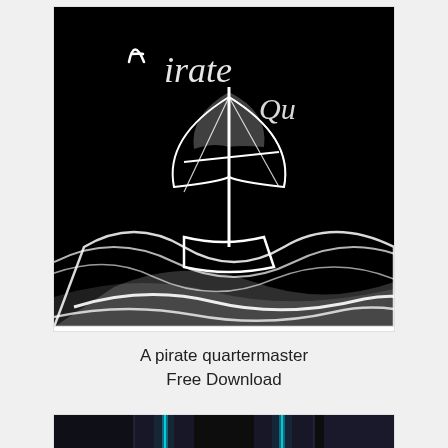[Figure (illustration): Black background with white hand-drawn sketch of a pirate ship with sails and waves, with text 'A Pirate Qu...' visible in upper right]
A pirate quartermaster
Free Download
[Figure (illustration): Dark sci-fi game scene with teal/cyan glowing robotic figures and vertical light beams, with text 'DEPLO' visible at the bottom]
!"DEPLOYMENT"!